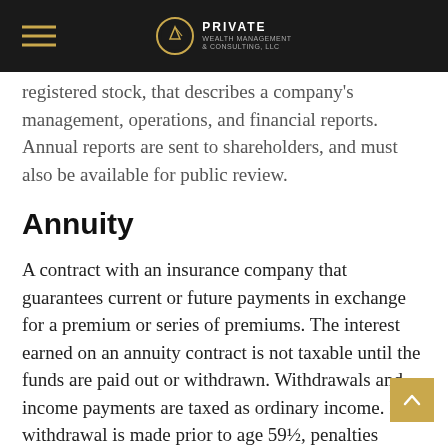Private Wealth Management & Consulting, LLC
registered stock, that describes a company's management, operations, and financial reports. Annual reports are sent to shareholders, and must also be available for public review.
Annuity
A contract with an insurance company that guarantees current or future payments in exchange for a premium or series of premiums. The interest earned on an annuity contract is not taxable until the funds are paid out or withdrawn. Withdrawals and income payments are taxed as ordinary income. If a withdrawal is made prior to age 59½, penalties apply. The guarantees of an annuity contract depend on the issuing company's claims-paying